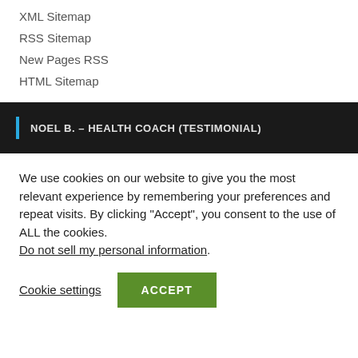XML Sitemap
RSS Sitemap
New Pages RSS
HTML Sitemap
NOEL B. – HEALTH COACH (TESTIMONIAL)
We use cookies on our website to give you the most relevant experience by remembering your preferences and repeat visits. By clicking "Accept", you consent to the use of ALL the cookies. Do not sell my personal information.
Cookie settings | ACCEPT